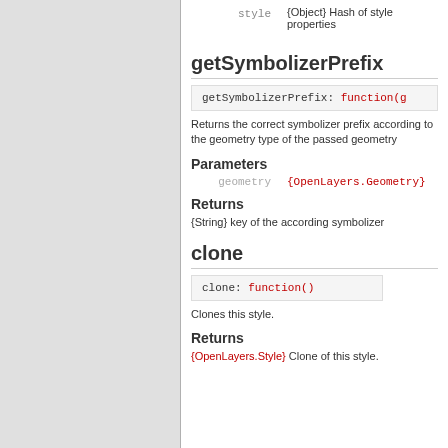style   {Object} Hash of style properties
getSymbolizerPrefix
getSymbolizerPrefix: function(g
Returns the correct symbolizer prefix according to the geometry type of the passed geometry
Parameters
geometry   {OpenLayers.Geometry}
Returns
{String} key of the according symbolizer
clone
clone: function()
Clones this style.
Returns
{OpenLayers.Style} Clone of this style.